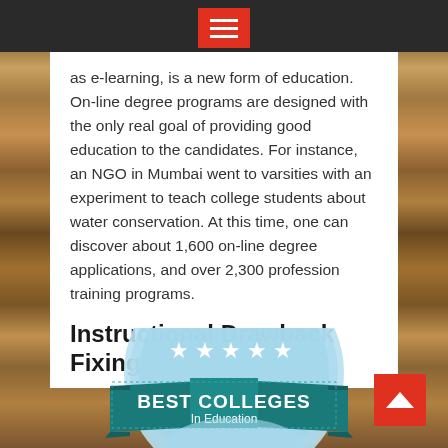as e-learning, is a new form of education. On-line degree programs are designed with the only real goal of providing good education to the candidates. For instance, an NGO in Mumbai went to varsities with an experiment to teach college students about water conservation. At this time, one can discover about 1,600 on-line degree applications, and over 2,300 profession training programs.
Instructional Drawback Fixing
[Figure (logo): Best Colleges In Education badge/seal with teal ribbon banner, light blue circular background with stars, and text BEST COLLEGES In Education]